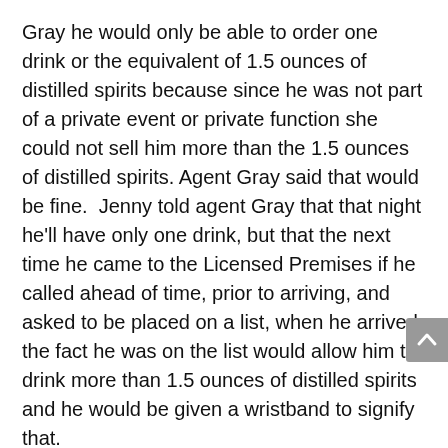Gray he would only be able to order one drink or the equivalent of 1.5 ounces of distilled spirits because since he was not part of a private event or private function she could not sell him more than the 1.5 ounces of distilled spirits. Agent Gray said that would be fine.  Jenny told agent Gray that that night he'll have only one drink, but that the next time he came to the Licensed Premises if he called ahead of time, prior to arriving, and asked to be placed on a list, when he arrived, the fact he was on the list would allow him to drink more than 1.5 ounces of distilled spirits and he would be given a wristband to signify that.
6.  While Agent Gray spoke to Jenny he observed two unidentified males seated at the bar with the agent, wearing wristbands and drinking.  Agent Gray pointed out the two males and asked Jenny, since they had